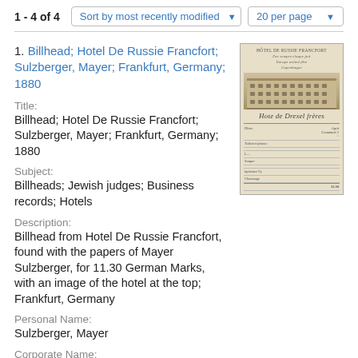1 - 4 of 4
Sort by most recently modified
20 per page
1. Billhead; Hotel De Russie Francfort; Sulzberger, Mayer; Frankfurt, Germany; 1880
Title:
Billhead; Hotel De Russie Francfort; Sulzberger, Mayer; Frankfurt, Germany; 1880
Subject:
Billheads; Jewish judges; Business records; Hotels
Description:
Billhead from Hotel De Russie Francfort, found with the papers of Mayer Sulzberger, for 11.30 German Marks, with an image of the hotel at the top; Frankfurt, Germany
Personal Name:
Sulzberger, Mayer
Corporate Name:
[Figure (photo): Thumbnail image of a billhead from Hotel De Russie Francfort, showing the hotel building illustration at top and handwritten ledger entries below, on aged sepia paper.]